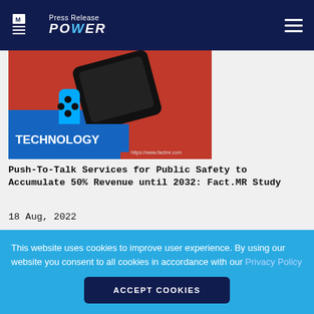Press Release POWER
[Figure (screenshot): Technology press release image showing a Nintendo Switch controller on a red/blue background with text 'TECHNOLOGY' and URL 'https://www.factmr.com']
Push-To-Talk Services for Public Safety to Accumulate 50% Revenue until 2032: Fact.MR Study
18 Aug, 2022
This website uses cookies to improve user experience. By using our website you consent to all cookies in accordance with our Privacy Policy
ACCEPT COOKIES
[Figure (screenshot): Bottom banner showing 'DISTRIBUTIONS' text with a person in background]